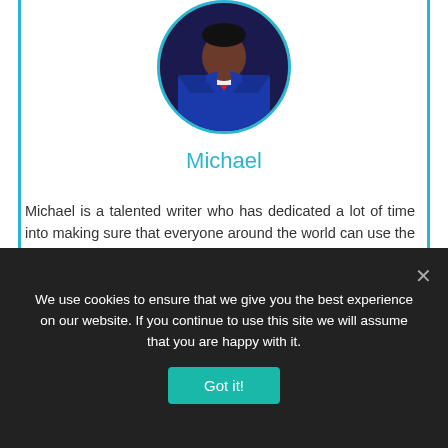[Figure (photo): Circular profile photo of Michael, a man wearing a blue suit and red tie]
Michael
Michael is a talented writer who has dedicated a lot of time into making sure that everyone around the world can use the internet securely. Being an avid traveler, he has acquired a lot of experience while using different VPNs on his travels. When it comes to doing comprehensive "how to tutorials" or testing some VPN functionalities, he's always the best pick ! He's here to help you solve your VPN-related issues.
We use cookies to ensure that we give you the best experience on our website. If you continue to use this site we will assume that you are happy with it.